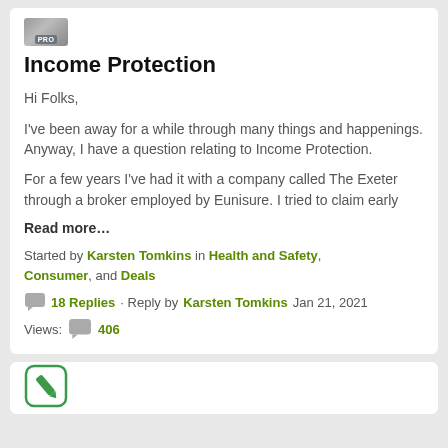[Figure (photo): User avatar thumbnail with PRO badge]
Income Protection
Hi Folks,
I've been away for a while through many things and happenings. Anyway, I have a question relating to Income Protection.
For a few years I've had it with a company called The Exeter through a broker employed by Eunisure. I tried to claim early
Read more…
Started by Karsten Tomkins in Health and Safety, Consumer, and Deals
18 Replies · Reply by Karsten Tomkins Jan 21, 2021
Views: 406
[Figure (illustration): Pencil/edit icon in green rounded square]